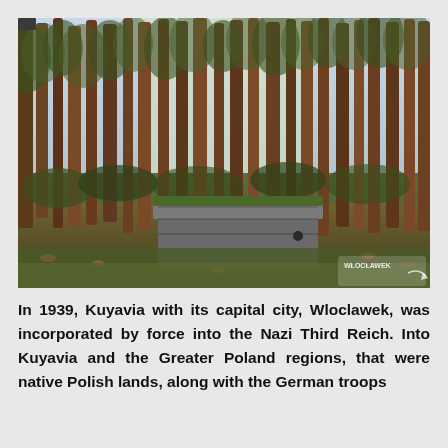[Figure (photo): A forest scene with tall pine trees and a concrete bunker or fortification structure covered in moss, partially buried in the ground with fallen leaves on the forest floor. A watermark reading 'WLOCLAWEK' with a decorative arrow is in the bottom-right corner.]
In 1939, Kuyavia with its capital city, Wloclawek, was incorporated by force into the Nazi Third Reich. Into Kuyavia and the Greater Poland regions, that were native Polish lands, along with the German troops